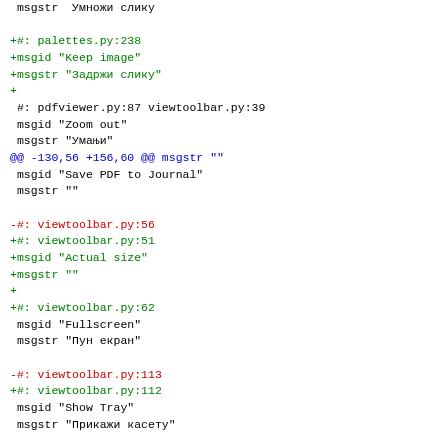msgstr  Умножи слику

+#: palettes.py:238
+msgid "Keep image"
+msgstr "Задржи слику"
+
 #: pdfviewer.py:87 viewtoolbar.py:39
 msgid "Zoom out"
 msgstr "Умањи"
@@ -130,56 +156,60 @@ msgstr ""
 msgid "Save PDF to Journal"
 msgstr ""

-#: viewtoolbar.py:56
+#: viewtoolbar.py:51
+msgid "Actual size"
+msgstr ""
+
+#: viewtoolbar.py:62
 msgid "Fullscreen"
 msgstr "Пун екран"

-#: viewtoolbar.py:113
+#: viewtoolbar.py:112
 msgid "Show Tray"
 msgstr "Прикажи касету"

-#: viewtoolbar.py:117
+#: viewtoolbar.py:115
 msgid "Hide Tray"
 msgstr "Сакриј касету"